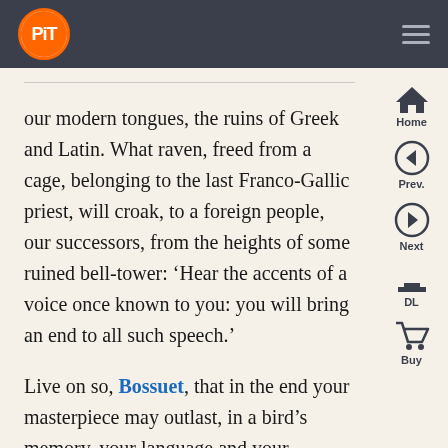PiT (logo) — navigation header with Home, Prev., Next, DL, Buy sidebar
our modern tongues, the ruins of Greek and Latin. What raven, freed from a cage, belonging to the last Franco-Gallic priest, will croak, to a foreign people, our successors, from the heights of some ruined bell-tower: 'Hear the accents of a voice once known to you: you will bring an end to all such speech.'
Live on so, Bossuet, that in the end your masterpiece may outlast, in a bird's memory, your language and your remembrance among men!